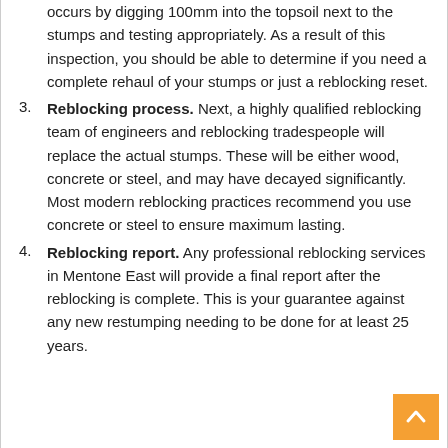occurs by digging 100mm into the topsoil next to the stumps and testing appropriately. As a result of this inspection, you should be able to determine if you need a complete rehaul of your stumps or just a reblocking reset.
3. Reblocking process. Next, a highly qualified reblocking team of engineers and reblocking tradespeople will replace the actual stumps. These will be either wood, concrete or steel, and may have decayed significantly. Most modern reblocking practices recommend you use concrete or steel to ensure maximum lasting.
4. Reblocking report. Any professional reblocking services in Mentone East will provide a final report after the reblocking is complete. This is your guarantee against any new restumping needing to be done for at least 25 years.